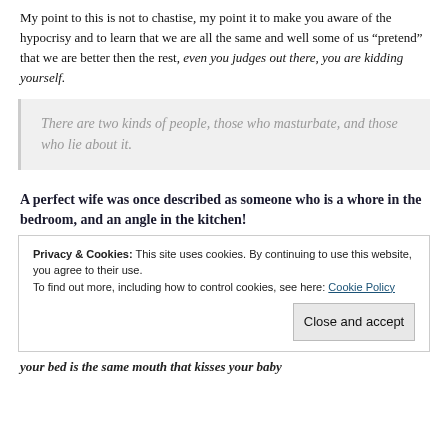My point to this is not to chastise, my point it to make you aware of the hypocrisy and to learn that we are all the same and well some of us “pretend” that we are better then the rest, even you judges out there, you are kidding yourself.
There are two kinds of people, those who masturbate, and those who lie about it.
A perfect wife was once described as someone who is a whore in the bedroom, and an angle in the kitchen!
Privacy & Cookies: This site uses cookies. By continuing to use this website, you agree to their use. To find out more, including how to control cookies, see here: Cookie Policy
your bed is the same mouth that kisses your baby